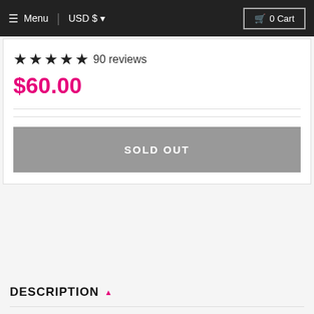Menu | USD $ | 0 Cart
★★★★★ 90 reviews
$60.00
SOLD OUT
DESCRIPTION ▲